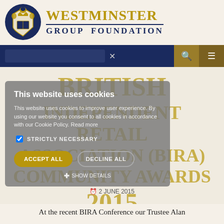[Figure (logo): Westminster Group Foundation logo with blue and gold heraldic crest and text 'WESTMINSTER GROUP FOUNDATION']
[Figure (screenshot): Navigation bar with dark blue background, search box, gold search icon button, and darker gold hamburger menu button]
BRITISH INDEPENDENT RETAIL ASSOCIATION (BIRA) COMMUNITY AWARDS 2015
2 JUNE 2015
[Figure (screenshot): Cookie consent overlay with title 'This website uses cookies', body text about cookie policy, STRICTLY NECESSARY checkbox, ACCEPT ALL and DECLINE ALL buttons, and SHOW DETAILS link]
At the recent BIRA Conference our Trustee Alan